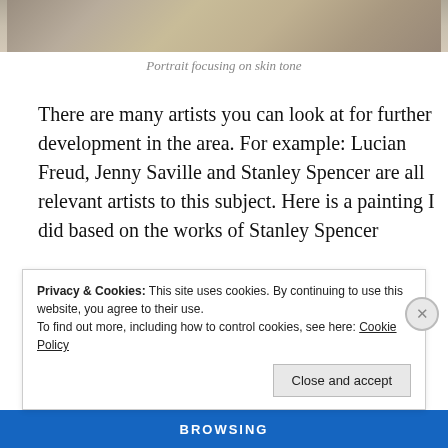[Figure (photo): Cropped bottom portion of a portrait painting focusing on skin tone, with muted grey and beige tones visible at the top of the page.]
Portrait focusing on skin tone
There are many artists you can look at for further development in the area. For example: Lucian Freud, Jenny Saville and Stanley Spencer are all relevant artists to this subject. Here is a painting I did based on the works of Stanley Spencer
Privacy & Cookies: This site uses cookies. By continuing to use this website, you agree to their use.
To find out more, including how to control cookies, see here: Cookie Policy
Close and accept